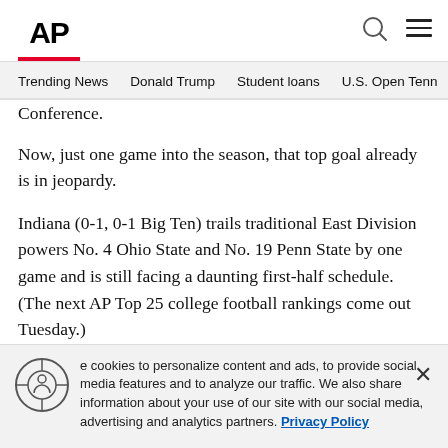[Figure (logo): AP (Associated Press) logo in bold black text with red underline bar]
Trending News   Donald Trump   Student loans   U.S. Open Tenn
Conference.
Now, just one game into the season, that top goal already is in jeopardy.
Indiana (0-1, 0-1 Big Ten) trails traditional East Division powers No. 4 Ohio State and No. 19 Penn State by one game and is still facing a daunting first-half schedule. (The next AP Top 25 college football rankings come out Tuesday.)
We use cookies to personalize content and ads, to provide social media features and to analyze our traffic. We also share information about your use of our site with our social media, advertising and analytics partners. Privacy Policy